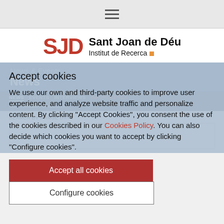[Figure (logo): SJD Sant Joan de Déu Institut de Recerca logo]
Accept cookies
We use our own and third-party cookies to improve user experience, and analyze website traffic and personalize content. By clicking "Accept Cookies", you consent the use of the cookies described in our Cookies Policy. You can also decide which cookies you want to accept by clicking "Configure cookies".
Accept all cookies
Configure cookies
News & Events
News
NEWS   EVENTS   INTERVIEWS   INFORECERCA
MULTIMEDIA GALLERY
SEARCH BY RANGE DATE